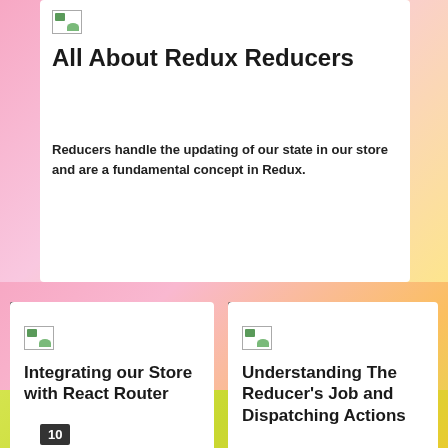[Figure (illustration): Small image placeholder icon at top of main card]
All About Redux Reducers
Reducers handle the updating of our state in our store and are a fundamental concept in Redux.
[Figure (illustration): Small image placeholder icon at top of card 8]
Integrating our Store with React Router
Let's get everyone on the same page and let React Router know about our store.
[Figure (illustration): Small image placeholder icon at top of card 9]
Understanding The Reducer's Job and Dispatching Actions
How does the Reducer update state? What is it's job?